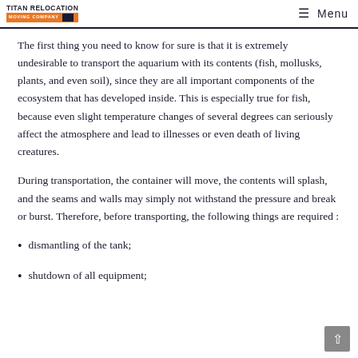TITAN RELOCATION MOVING COMPANY | Menu
The first thing you need to know for sure is that it is extremely undesirable to transport the aquarium with its contents (fish, mollusks, plants, and even soil), since they are all important components of the ecosystem that has developed inside. This is especially true for fish, because even slight temperature changes of several degrees can seriously affect the atmosphere and lead to illnesses or even death of living creatures.
During transportation, the container will move, the contents will splash, and the seams and walls may simply not withstand the pressure and break or burst. Therefore, before transporting, the following things are required :
dismantling of the tank;
shutdown of all equipment;